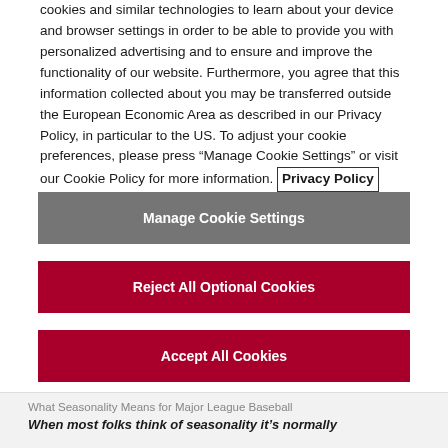cookies and similar technologies to learn about your device and browser settings in order to be able to provide you with personalized advertising and to ensure and improve the functionality of our website. Furthermore, you agree that this information collected about you may be transferred outside the European Economic Area as described in our Privacy Policy, in particular to the US. To adjust your cookie preferences, please press “Manage Cookie Settings” or visit our Cookie Policy for more information. Privacy Policy
Manage Cookie Settings
Reject All Optional Cookies
Accept All Cookies
What Seasonality Means for Major League Baseball
When most folks think of seasonality it’s normally